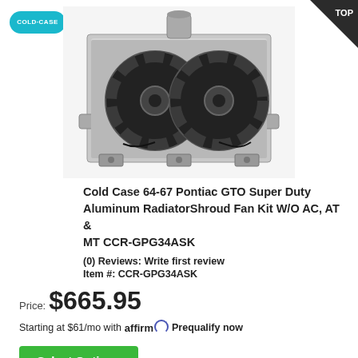[Figure (photo): Cold Case aluminum radiator with dual black electric fans, shroud fan kit, viewed from front.]
Cold Case 64-67 Pontiac GTO Super Duty Aluminum RadiatorShroud Fan Kit W/O AC, AT & MT CCR-GPG34ASK
(0) Reviews: Write first review
Item #: CCR-GPG34ASK
Price: $665.95
Starting at $61/mo with affirm Prequalify now